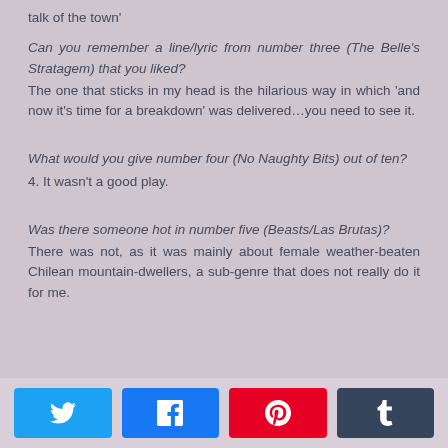talk of the town'
Can you remember a line/lyric from number three (The Belle's Stratagem) that you liked?
The one that sticks in my head is the hilarious way in which 'and now it's time for a breakdown' was delivered…you need to see it.
What would you give number four (No Naughty Bits) out of ten?
4. It wasn't a good play.
Was there someone hot in number five (Beasts/Las Brutas)?
There was not, as it was mainly about female weather-beaten Chilean mountain-dwellers, a sub-genre that does not really do it for me.